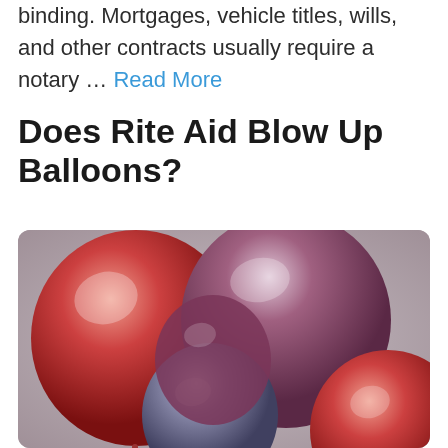binding. Mortgages, vehicle titles, wills, and other contracts usually require a notary … Read More
Does Rite Aid Blow Up Balloons?
[Figure (photo): Close-up photo of shiny metallic chrome balloons in red, mauve/purple, and silver/grey tones clustered together against a light grey background.]